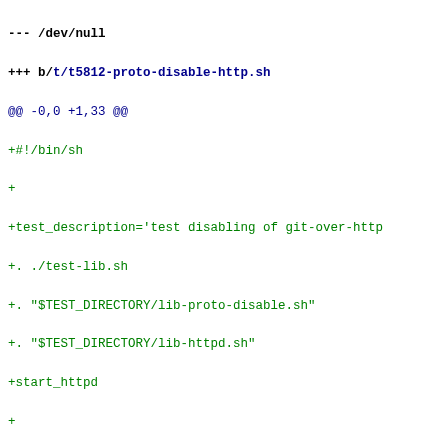--- /dev/null
+++ b/t/t5812-proto-disable-http.sh
@@ -0,0 +1,33 @@
+#!/bin/sh
+
+test_description='test disabling of git-over-http
+. ./test-lib.sh
+. "$TEST_DIRECTORY/lib-proto-disable.sh"
+. "$TEST_DIRECTORY/lib-httpd.sh"
+start_httpd
+
+test_expect_success 'create git-accessible repo' '
+        bare="$HTTPD_DOCUMENT_ROOT_PATH/repo.git" &
+        test_commit one &&
+        git --bare init "$bare" &&
+        git push "$bare" HEAD &&
+        git -C "$bare" config http.receivepack true
+'
+
+test_proto "smart http" http "$HTTPD_URL/smart/rep
++
+test_expect_success 'curl redirects respect whitel
+        test_must_fail env GIT_ALLOW_PROTOCOL=http:
+                git clone "$HTTPD_URL/ftp-redir/rep
+        {
+                test_i18ngrep "ftp.*disabled" stder
+                test_i18ngrep "your curl version is
+        }
+'
++